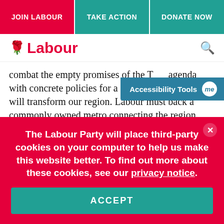JOIN LABOUR | TAKE ACTION | DONATE NOW
Labour
combat the empty promises of the T… agenda with concrete policies for a Green New Deal that will transform our region. Labour must back a commonly owned metro connecting the region, support publicly owned offshore wind farms and develop cooperatives. I joined Labour in search for radical solutions to the climate crisis and austerity. Those issues are still with us. Since
Accessibility Tools me
The Labour Party will place third-party cookies on your computer to help us make this website better. To find out more about these cookies, see our privacy notice. ACCEPT